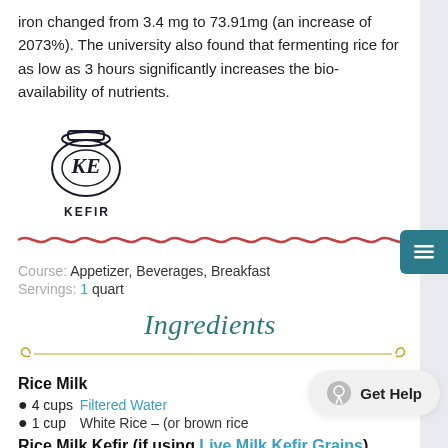iron changed from 3.4 mg to 73.91mg (an increase of 2073%). The university also found that fermenting rice for as low as 3 hours significantly increases the bio-availability of nutrients.
[Figure (logo): Kefir logo: a jar with KE initials inside, labeled KEFIR below]
Course: Appetizer, Beverages, Breakfast
Servings: 1 quart
Ingredients
Rice Milk
4 cups  Filtered Water
1 cup  White Rice – (or brown rice
Rice Milk Kefir (if using Live Milk Kefir Grains)